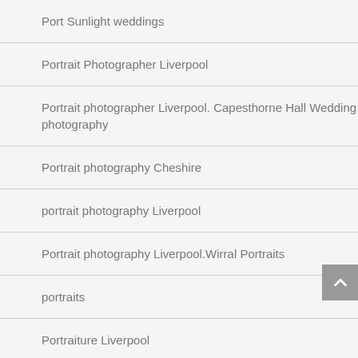Port Sunlight weddings
Portrait Photographer Liverpool
Portrait photographer Liverpool. Capesthorne Hall Wedding photography
Portrait photography Cheshire
portrait photography Liverpool
Portrait photography Liverpool.Wirral Portraits
portraits
Portraiture Liverpool